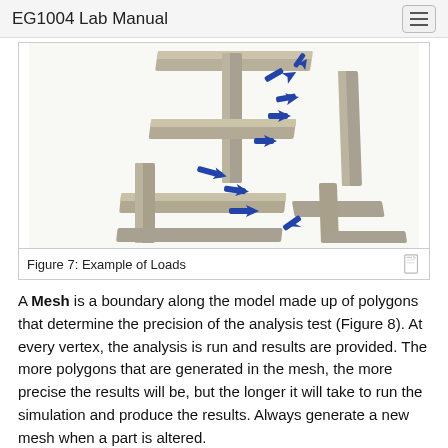EG1004 Lab Manual
[Figure (engineering-diagram): 3D CAD model of a rectangular frame structure with blue arrows indicating applied loads/forces at various joints. The arrows point inward from multiple directions, illustrating force loads on the structure.]
Figure 7: Example of Loads
A Mesh is a boundary along the model made up of polygons that determine the precision of the analysis test (Figure 8). At every vertex, the analysis is run and results are provided. The more polygons that are generated in the mesh, the more precise the results will be, but the longer it will take to run the simulation and produce the results. Always generate a new mesh when a part is altered.
[Figure (engineering-diagram): Partial view of a 3D mesh model showing a triangulated/tessellated surface of an engineering part, partially visible at the bottom of the page.]